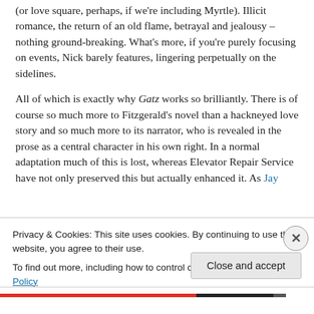(or love square, perhaps, if we're including Myrtle). Illicit romance, the return of an old flame, betrayal and jealousy – nothing ground-breaking. What's more, if you're purely focusing on events, Nick barely features, lingering perpetually on the sidelines.
All of which is exactly why Gatz works so brilliantly. There is of course so much more to Fitzgerald's novel than a hackneyed love story and so much more to its narrator, who is revealed in the prose as a central character in his own right. In a normal adaptation much of this is lost, whereas Elevator Repair Service have not only preserved this but actually enhanced it. As Jay
Privacy & Cookies: This site uses cookies. By continuing to use this website, you agree to their use.
To find out more, including how to control cookies, see here: Cookie Policy